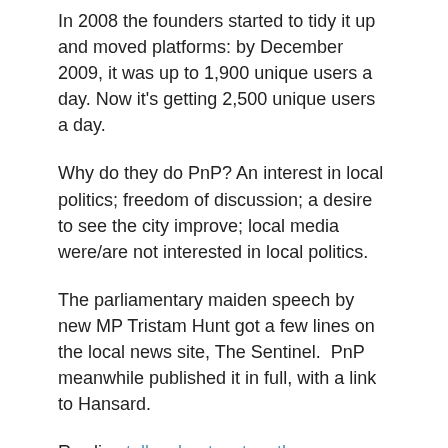In 2008 the founders started to tidy it up and moved platforms: by December 2009, it was up to 1,900 unique users a day. Now it's getting 2,500 unique users a day.
Why do they do PnP? An interest in local politics; freedom of discussion; a desire to see the city improve; local media were/are not interested in local politics.
The parliamentary maiden speech by new MP Tristam Hunt got a few lines on the local news site, The Sentinel.  PnP meanwhile published it in full, with a link to Hansard.
Rawlins talks about a story they published: the BNP had been using images of a Polish spitfire on one of its anti-immigration posters. Shortly after it was picked up by the Mail and the Telegraph – but not attributed or linked to.
Robin Hamman keeps his introduction to his blog in St Albans pretty short. He does however show us how two hyperlocal